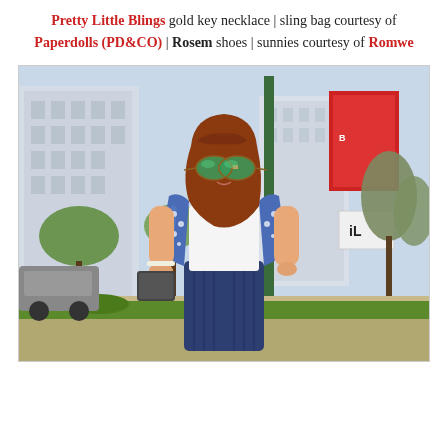Pretty Little Blings gold key necklace | sling bag courtesy of Paperdolls (PD&CO) | Rosem shoes | sunnies courtesy of Romwe
[Figure (photo): A young woman with long auburn hair wearing green mirrored aviator sunglasses, a white top with blue floral kimono jacket, and a navy pleated skirt, standing outdoors on a sidewalk with urban buildings, trees, and a green pole in the background. She is holding a dark bag.]